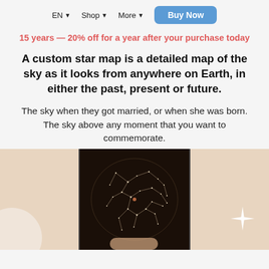EN ▾   Shop ▾   More ▾   Buy Now
15 years — 20% off for a year after your purchase today
A custom star map is a detailed map of the sky as it looks from anywhere on Earth, in either the past, present or future.
The sky when they got married, or when she was born. The sky above any moment that you want to commemorate.
[Figure (photo): A star map print shown in a dark frame, with a glowing constellation map on a dark background, held by hands. Decorative sparkle star icon visible on right. Warm beige/tan background with partial white decorative elements at the bottom corners.]